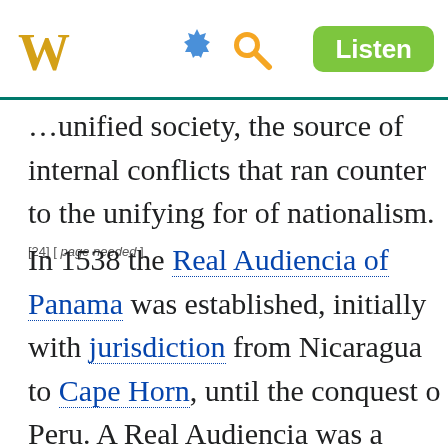W [gear icon] [search icon] Listen
...unified society, the source of internal conflicts that ran counter to the unifying force of nationalism.[24][page needed]
In 1538 the Real Audiencia of Panama was established, initially with jurisdiction from Nicaragua to Cape Horn, until the conquest of Peru. A Real Audiencia was a judicial district that functioned as an appeals court. Each audiencia had an oidor (Spanish: hearer, a judge).